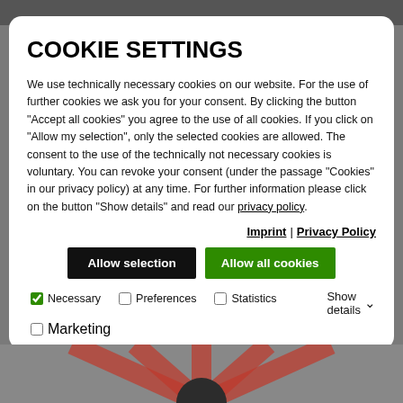COOKIE SETTINGS
We use technically necessary cookies on our website. For the use of further cookies we ask you for your consent. By clicking the button "Accept all cookies" you agree to the use of all cookies. If you click on "Allow my selection", only the selected cookies are allowed. The consent to the use of the technically not necessary cookies is voluntary. You can revoke your consent (under the passage "Cookies" in our privacy policy) at any time. For further information please click on the button "Show details" and read our privacy policy.
Imprint | Privacy Policy
Allow selection | Allow all cookies
Necessary  Preferences  Statistics  Show details  Marketing